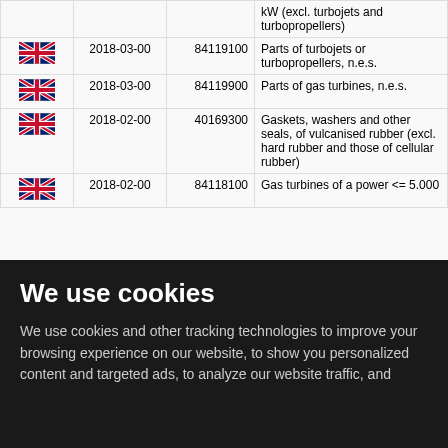| Country | Date | Code | Description |
| --- | --- | --- | --- |
| UK |  |  | kW (excl. turbojets and turbopropellers) |
| UK | 2018-03-00 | 84119100 | Parts of turbojets or turbopropellers, n.e.s. |
| UK | 2018-03-00 | 84119900 | Parts of gas turbines, n.e.s. |
| UK | 2018-02-00 | 40169300 | Gaskets, washers and other seals, of vulcanised rubber (excl. hard rubber and those of cellular rubber) |
| UK | 2018-02-00 | 84118100 | Gas turbines of a power <= 5.000 |
We use cookies
We use cookies and other tracking technologies to improve your browsing experience on our website, to show you personalized content and targeted ads, to analyze our website traffic, and